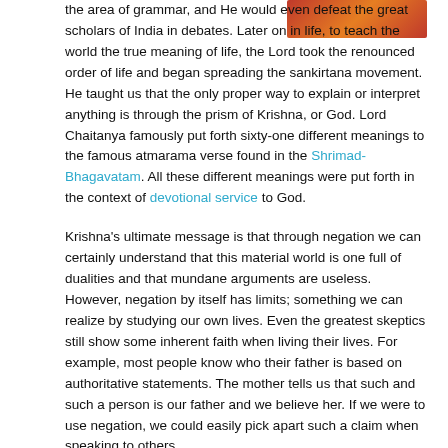[Figure (photo): Partial image at top right, showing reddish-orange tones, likely a religious or decorative image cropped at the page top.]
the area of grammar, and He would even defeat the great scholars of India in debates. Later on in life, to teach the world the true meaning of life, the Lord took the renounced order of life and began spreading the sankirtana movement. He taught us that the only proper way to explain or interpret anything is through the prism of Krishna, or God. Lord Chaitanya famously put forth sixty-one different meanings to the famous atmarama verse found in the Shrimad-Bhagavatam. All these different meanings were put forth in the context of devotional service to God.
Krishna's ultimate message is that through negation we can certainly understand that this material world is one full of dualities and that mundane arguments are useless. However, negation by itself has limits; something we can realize by studying our own lives. Even the greatest skeptics still show some inherent faith when living their lives. For example, most people know who their father is based on authoritative statements. The mother tells us that such and such a person is our father and we believe her. If we were to use negation, we could easily pick apart such a claim when speaking to others.